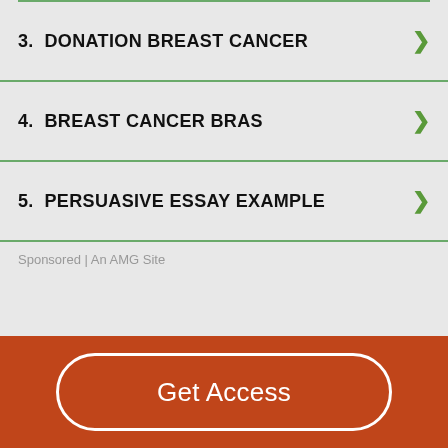3.  DONATION BREAST CANCER
4.  BREAST CANCER BRAS
5.  PERSUASIVE ESSAY EXAMPLE
Sponsored | An AMG Site
Get Access